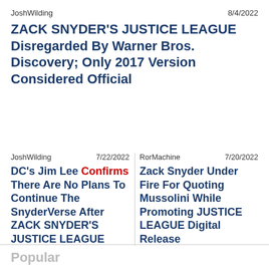JoshWilding    8/4/2022
ZACK SNYDER'S JUSTICE LEAGUE Disregarded By Warner Bros. Discovery; Only 2017 Version Considered Official
JoshWilding    7/22/2022    RorMachine    7/20/2022
DC's Jim Lee Confirms There Are No Plans To Continue The SnyderVerse After ZACK SNYDER'S JUSTICE LEAGUE
Zack Snyder Under Fire For Quoting Mussolini While Promoting JUSTICE LEAGUE Digital Release
Popular